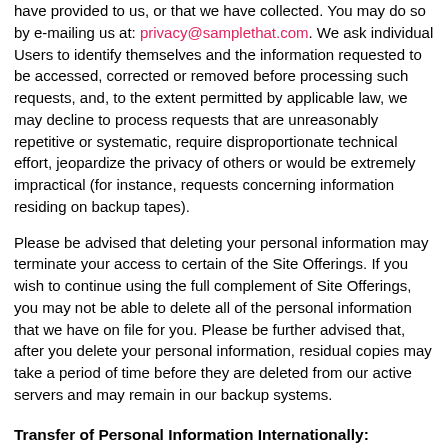have provided to us, or that we have collected. You may do so by e-mailing us at: privacy@samplethat.com. We ask individual Users to identify themselves and the information requested to be accessed, corrected or removed before processing such requests, and, to the extent permitted by applicable law, we may decline to process requests that are unreasonably repetitive or systematic, require disproportionate technical effort, jeopardize the privacy of others or would be extremely impractical (for instance, requests concerning information residing on backup tapes).
Please be advised that deleting your personal information may terminate your access to certain of the Site Offerings. If you wish to continue using the full complement of Site Offerings, you may not be able to delete all of the personal information that we have on file for you. Please be further advised that, after you delete your personal information, residual copies may take a period of time before they are deleted from our active servers and may remain in our backup systems.
Transfer of Personal Information Internationally:
If you are visiting the Site from a country other than the country in which our servers are located, your communications with us may result in the transfer of information across international boundaries. By